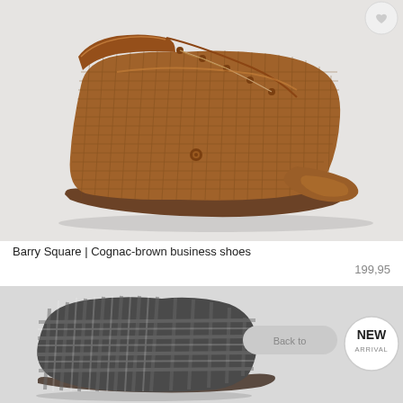[Figure (photo): Cognac-brown woven leather lace-up chukka boot (Barry Square) on a light grey background, side view facing right. The boot has a textured grid/woven pattern, lace-up closure, and a brown leather sole. A small wishlist circle button is in the top-right corner of the image.]
Barry Square | Cognac-brown business shoes
199,95
[Figure (photo): Partial view of a dark grey/charcoal checked or plaid dress shoe on a light grey background. A 'NEW ARRIVAL' circular badge is in the top-right corner, and a partially visible 'Back to' button is next to it.]